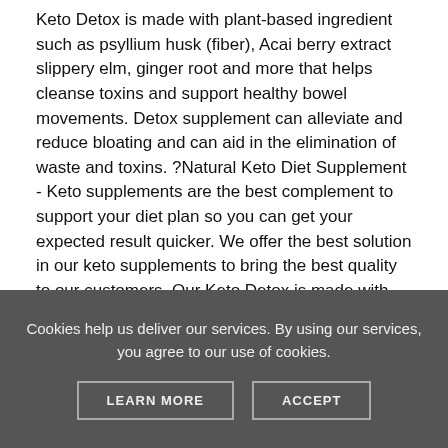Keto Detox is made with plant-based ingredient such as psyllium husk (fiber), Acai berry extract slippery elm, ginger root and more that helps cleanse toxins and support healthy bowel movements. Detox supplement can alleviate and reduce bloating and can aid in the elimination of waste and toxins. ?Natural Keto Diet Supplement - Keto supplements are the best complement to support your diet plan so you can get your expected result quicker. We offer the best solution in our keto supplements to bring the best quality to our customers. Our Keto Detox is made with natural and effective ingredients which helps with digestion and removing toxins. Clear your body of any toxins for your keto diet while taking our finest keto supplements made with natural ingredients. ?GMP Registered Facility - Our
Cookies help us deliver our services. By using our services, you agree to our use of cookies.